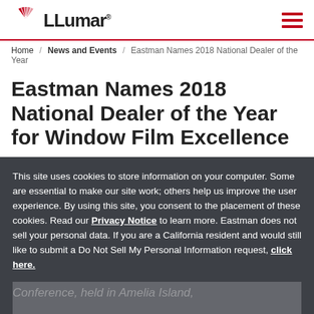LLumar
Home / News and Events / Eastman Names 2018 National Dealer of the Year
Eastman Names 2018 National Dealer of the Year for Window Film Excellence
This site uses cookies to store information on your computer. Some are essential to make our site work; others help us improve the user experience. By using this site, you consent to the placement of these cookies. Read our Privacy Notice to learn more. Eastman does not sell your personal data. If you are a California resident and would still like to submit a Do Not Sell My Personal Information request, click here.
ACCEPT ALL
REJECT ALL